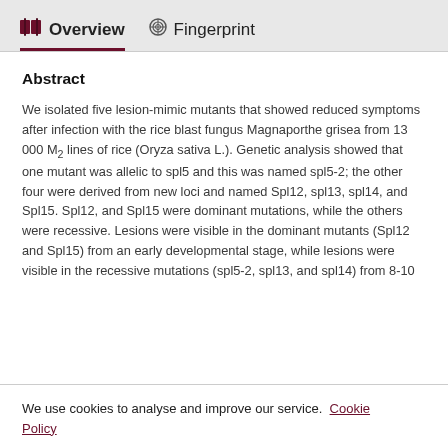Overview   Fingerprint
Abstract
We isolated five lesion-mimic mutants that showed reduced symptoms after infection with the rice blast fungus Magnaporthe grisea from 13 000 M₂ lines of rice (Oryza sativa L.). Genetic analysis showed that one mutant was allelic to spl5 and this was named spl5-2; the other four were derived from new loci and named Spl12, spl13, spl14, and Spl15. Spl12, and Spl15 were dominant mutations, while the others were recessive. Lesions were visible in the dominant mutants (Spl12 and Spl15) from an early developmental stage, while lesions were visible in the recessive mutations (spl5-2, spl13, and spl14) from 8-10
We use cookies to analyse and improve our service. Cookie Policy